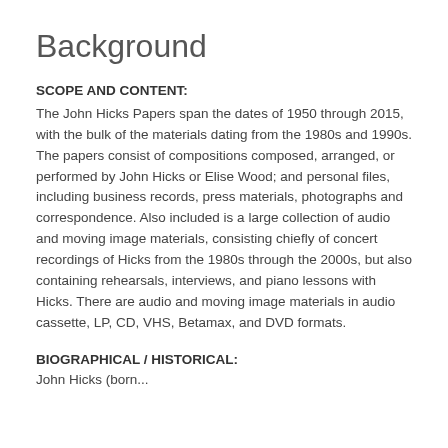Background
SCOPE AND CONTENT:
The John Hicks Papers span the dates of 1950 through 2015, with the bulk of the materials dating from the 1980s and 1990s. The papers consist of compositions composed, arranged, or performed by John Hicks or Elise Wood; and personal files, including business records, press materials, photographs and correspondence. Also included is a large collection of audio and moving image materials, consisting chiefly of concert recordings of Hicks from the 1980s through the 2000s, but also containing rehearsals, interviews, and piano lessons with Hicks. There are audio and moving image materials in audio cassette, LP, CD, VHS, Betamax, and DVD formats.
BIOGRAPHICAL / HISTORICAL:
John Hicks (born...